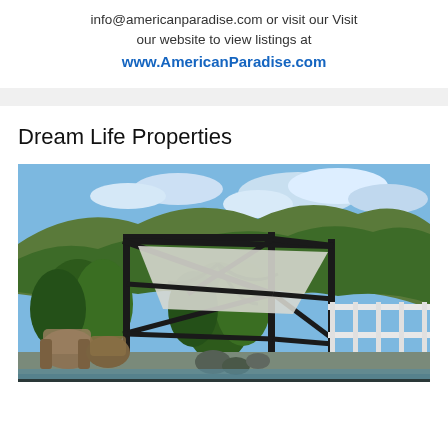info@americanparadise.com or visit our Visit our website to view listings at www.AmericanParadise.com
Dream Life Properties
[Figure (photo): Outdoor patio area with a black metal pergola structure covered by a white shade sail, surrounded by tropical vegetation on a hillside, with wicker/rattan chairs, decorative rocks, and a white railing on the right side. Blue sky with clouds visible in the background.]